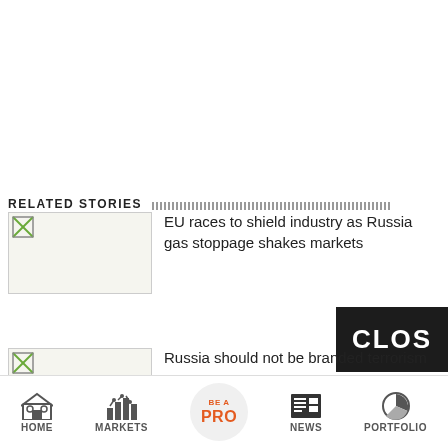[Figure (other): CLOSE button — black rectangle with white bold text 'CLOS' (partially clipped)]
RELATED STORIES
[Figure (photo): Thumbnail image placeholder for article about EU races to shield industry as Russia gas stoppage shakes markets]
EU races to shield industry as Russia gas stoppage shakes markets
[Figure (photo): Thumbnail image placeholder for article about Russia should not be branded terrorism sponsor: Bel...]
Russia should not be branded terrorism
HOME  MARKETS  BE A PRO  NEWS  PORTFOLIO